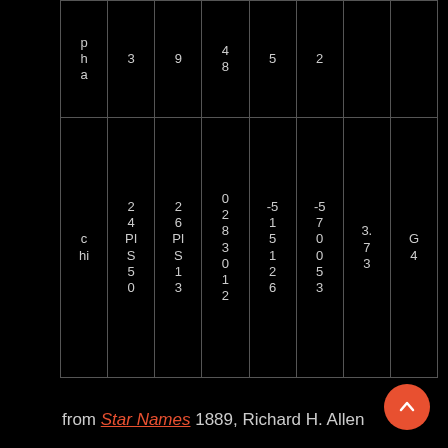| p
h
a | 3 | 9 | 4
8 | 5 | 2 |  |  |
| c
hi | 2
4
PI
S
5
0 | 2
6
PI
S
1
3 | 0
2
8
3
0
1
2 | -5
1
5
1
2
6 | -5
7
0
0
5
3 | 3.
7
3 | G
4 |
from Star Names 1889, Richard H. Allen